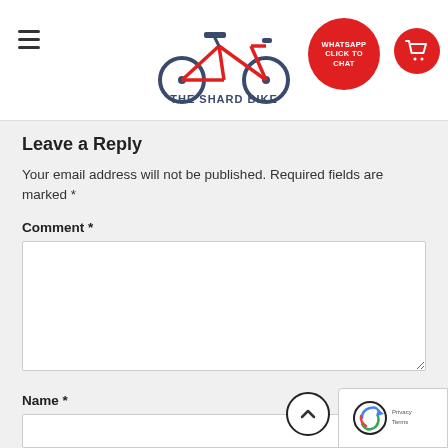THE SHARD BIKE — site header with hamburger menu, logo, WhatsApp button, and cart icon
Leave a Reply
Your email address will not be published. Required fields are marked *
Comment *
Name *
Email *